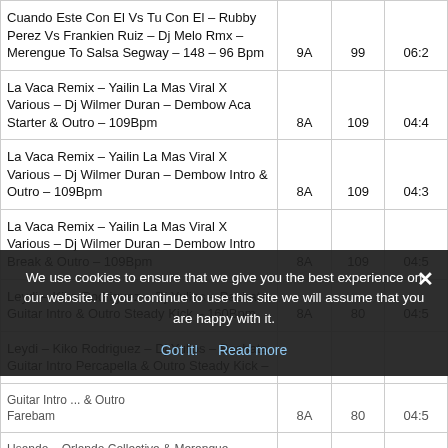| Name | Key | BPM | Duration |
| --- | --- | --- | --- |
| Cuando Este Con El Vs Tu Con El – Rubby Perez Vs Frankien Ruiz – Dj Melo Rmx – Merengue To Salsa Segway – 148 – 96 Bpm | 9A | 99 | 06:2 |
| La Vaca Remix – Yailin La Mas Viral X Various – Dj Wilmer Duran – Dembow Aca Starter & Outro – 109Bpm | 8A | 109 | 04:4 |
| La Vaca Remix – Yailin La Mas Viral X Various – Dj Wilmer Duran – Dembow Intro & Outro – 109Bpm | 8A | 109 | 04:3 |
| La Vaca Remix – Yailin La Mas Viral X Various – Dj Wilmer Duran – Dembow Intro Break & Outro – 109Bpm | 8A | 109 | 04:5 |
| Leydi – Kiko Rodriguez – Dj Yulios – Bachata Guitar Intro & Outro Steady Kick – 160Bpm | 8A | 80 | 04:5 |
| Leydi – Kiko Rodriguez – Dj Yulios – Bachata Guitar Intro Percapella & Outro Steady Kick – |  |  |  |
| Leydi – Kiko Rodriguez – Dj Yulios – Bachata Guitar Intro ... & Outro Steady Kick – Farebam | 8A | 80 | 04:5 |
| Usando – Orlando Collective & Merengue – |  |  |  |
We use cookies to ensure that we give you the best experience on our website. If you continue to use this site we will assume that you are happy with it.